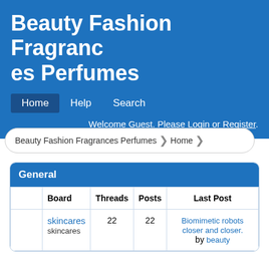Beauty Fashion Fragrances Perfumes
Home  Help  Search  Welcome Guest. Please Login or Register.
Beauty Fashion Fragrances Perfumes > Home
|  | Board | Threads | Posts | Last Post |
| --- | --- | --- | --- | --- |
|  | skincares
skincares | 22 | 22 | Biomimetic robots closer and closer.
by beauty |